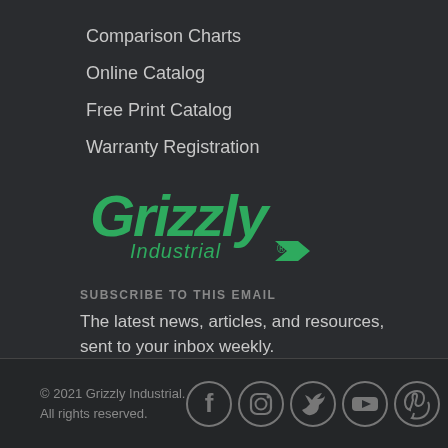Comparison Charts
Online Catalog
Free Print Catalog
Warranty Registration
[Figure (logo): Grizzly Industrial logo in green with stylized text]
SUBSCRIBE TO THIS EMAIL
The latest news, articles, and resources, sent to your inbox weekly.
© 2021 Grizzly Industrial. All rights reserved.